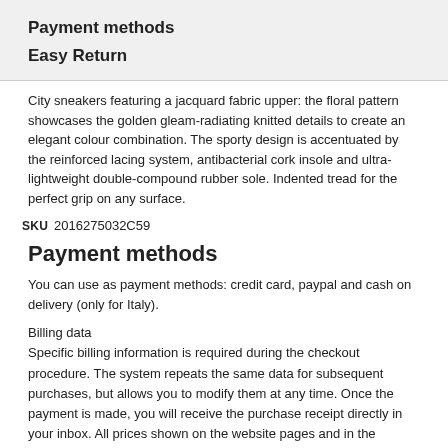Payment methods
Easy Return
City sneakers featuring a jacquard fabric upper: the floral pattern showcases the golden gleam-radiating knitted details to create an elegant colour combination. The sporty design is accentuated by the reinforced lacing system, antibacterial cork insole and ultra-lightweight double-compound rubber sole. Indented tread for the perfect grip on any surface.
SKU  2016275032C59
Payment methods
You can use as payment methods: credit card, paypal and cash on delivery (only for Italy).
Billing data
Specific billing information is required during the checkout procedure. The system repeats the same data for subsequent purchases, but allows you to modify them at any time. Once the payment is made, you will receive the purchase receipt directly in your inbox. All prices shown on the website pages and in the shopping cart are inclusive of VAT.